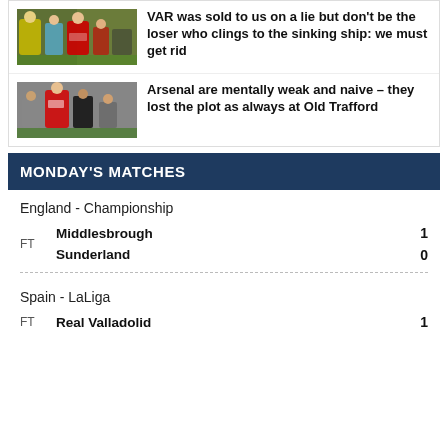[Figure (photo): Football players on pitch, includes goalkeeper in yellow and referee, Manchester United context]
VAR was sold to us on a lie but don't be the loser who clings to the sinking ship: we must get rid
[Figure (photo): Arsenal players in red, appears to be at Old Trafford]
Arsenal are mentally weak and naive – they lost the plot as always at Old Trafford
MONDAY'S MATCHES
England - Championship
FT
Middlesbrough  1
Sunderland  0
Spain - LaLiga
FT
Real Valladolid  1